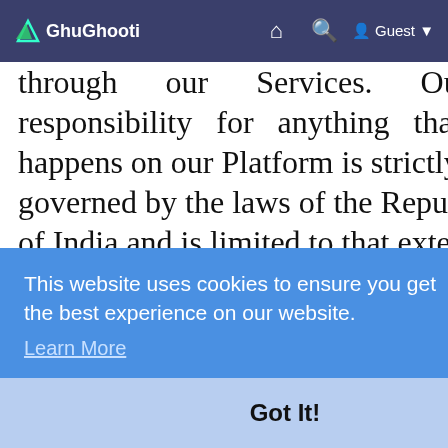GhuGhooti — navigation bar with home, search, and Guest user icons
through our Services. Our responsibility for anything that happens on our Platform is strictly governed by the laws of the Republic of India and is limited to that extent. You agree that we will not be responsible for any loss of profits, revenues, information, or data, or consequential, special, indirect,
[partially obscured by cookie banner] ...tal to ...are we or
We are an intermediary under Indian
This website uses cookies to ensure you get the best experience on our website. Learn More
Got It!